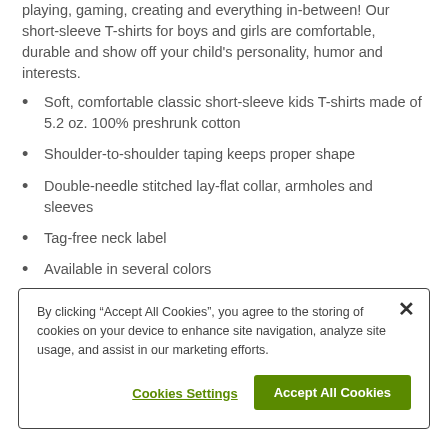This Kids Classic T-shirts is an everyday essential for learning, playing, gaming, creating and everything in-between! Our short-sleeve T-shirts for boys and girls are comfortable, durable and show off your child's personality, humor and interests.
Soft, comfortable classic short-sleeve kids T-shirts made of 5.2 oz. 100% preshrunk cotton
Shoulder-to-shoulder taping keeps proper shape
Double-needle stitched lay-flat collar, armholes and sleeves
Tag-free neck label
Available in several colors
Crewneck tees for boys and girls professionally printed with
By clicking “Accept All Cookies”, you agree to the storing of cookies on your device to enhance site navigation, analyze site usage, and assist in our marketing efforts.
Cookies Settings | Accept All Cookies